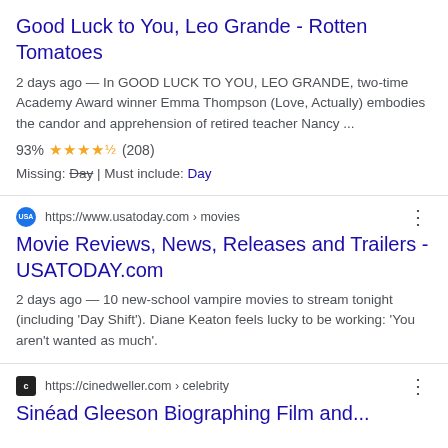Good Luck to You, Leo Grande - Rotten Tomatoes
2 days ago — In GOOD LUCK TO YOU, LEO GRANDE, two-time Academy Award winner Emma Thompson (Love, Actually) embodies the candor and apprehension of retired teacher Nancy ...
93% ★★★★½ (208)
Missing: Day | Must include: Day
https://www.usatoday.com › movies
Movie Reviews, News, Releases and Trailers - USATODAY.com
2 days ago — 10 new-school vampire movies to stream tonight (including 'Day Shift'). Diane Keaton feels lucky to be working: 'You aren't wanted as much'.
https://cinedweller.com › celebrity
Sinéad Gleeson Biographing Film and...